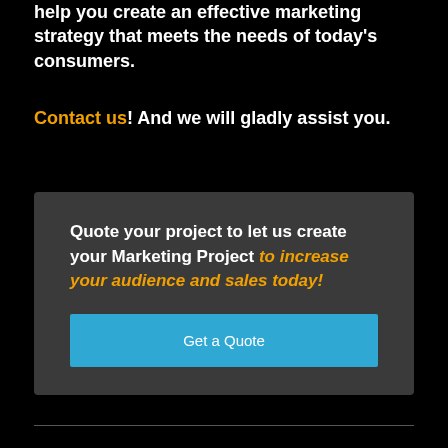help you create an effective marketing strategy that meets the needs of today's consumers.
Contact us! And we will gladly assist you.
Quote your project to let us create your Marketing Project to increase your audience and sales today!
Get a Quote